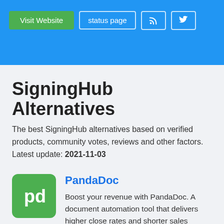Visit Website | status page | RSS | Twitter
SigningHub Alternatives
The best SigningHub alternatives based on verified products, community votes, reviews and other factors. Latest update: 2021-11-03
[Figure (logo): PandaDoc logo - green rounded square with white 'pd' icon]
PandaDoc
Boost your revenue with PandaDoc. A document automation tool that delivers higher close rates and shorter sales cycles. We've helped over 30,000+ companies.